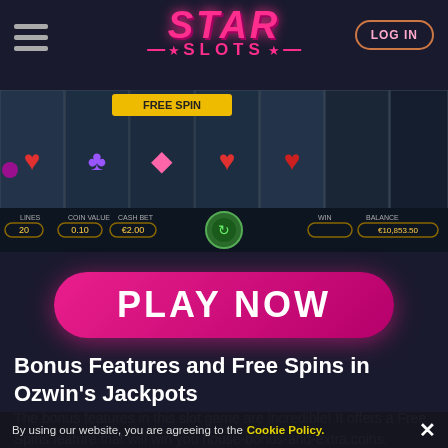STAR SLOTS
[Figure (screenshot): Ozwin's Jackpots slot game screenshot showing reels with card suit symbols, hearts, clubs, diamonds, and a FREE SPIN banner. Game UI shows LINES: 20, COIN VALUE: 0.10, CASH BET: €2.00, WIN, BALANCE: €10,853.50]
[Figure (other): PLAY NOW button — large pink/magenta rounded rectangle button]
Bonus Features and Free Spins in Ozwin's Jackpots
The bonus features in this slot game are incredible! It offers a Free Spins feature that will win you house-bonus-and-extra.coins.
By using our website, you are agreeing to the Cookie Policy.